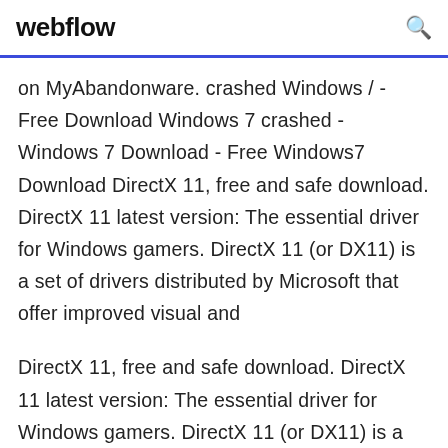webflow
on MyAbandonware. crashed Windows / - Free Download Windows 7 crashed - Windows 7 Download - Free Windows7 Download DirectX 11, free and safe download. DirectX 11 latest version: The essential driver for Windows gamers. DirectX 11 (or DX11) is a set of drivers distributed by Microsoft that offer improved visual and
DirectX 11, free and safe download. DirectX 11 latest version: The essential driver for Windows gamers. DirectX 11 (or DX11) is a set of drivers distributed by Microsoft that offer improved visual and Frozen Drift Race Free Download PC game setup in single direct link for Windows. It